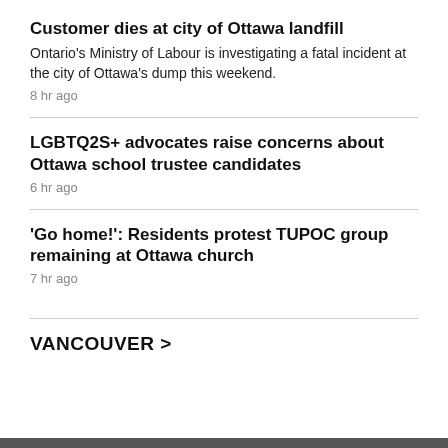Customer dies at city of Ottawa landfill
Ontario's Ministry of Labour is investigating a fatal incident at the city of Ottawa's dump this weekend.
8 hr ago
LGBTQ2S+ advocates raise concerns about Ottawa school trustee candidates
6 hr ago
'Go home!': Residents protest TUPOC group remaining at Ottawa church
7 hr ago
VANCOUVER >